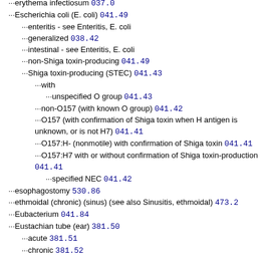erythema infectiosum 057.0
Escherichia coli (E. coli) 041.49
enteritis - see Enteritis, E. coli
generalized 038.42
intestinal - see Enteritis, E. coli
non-Shiga toxin-producing 041.49
Shiga toxin-producing (STEC) 041.43
with
unspecified O group 041.43
non-O157 (with known O group) 041.42
O157 (with confirmation of Shiga toxin when H antigen is unknown, or is not H7) 041.41
O157:H- (nonmotile) with confirmation of Shiga toxin 041.41
O157:H7 with or without confirmation of Shiga toxin-production 041.41
specified NEC 041.42
esophagostomy 530.86
ethmoidal (chronic) (sinus) (see also Sinusitis, ethmoidal) 473.2
Eubacterium 041.84
Eustachian tube (ear) 381.50
acute 381.51
chronic 381.52